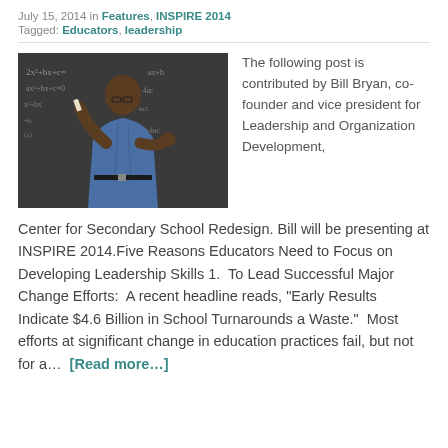July 15, 2014 in Features, INSPIRE 2014
Tagged: Educators, leadership
[Figure (photo): A man in a blue shirt writing or gesturing at a blackboard covered in mathematical equations.]
The following post is contributed by Bill Bryan, co-founder and vice president for Leadership and Organization Development, Center for Secondary School Redesign. Bill will be presenting at INSPIRE 2014.Five Reasons Educators Need to Focus on Developing Leadership Skills 1.  To Lead Successful Major Change Efforts:  A recent headline reads, "Early Results Indicate $4.6 Billion in School Turnarounds a Waste."  Most efforts at significant change in education practices fail, but not for a…  [Read more…]